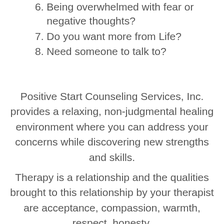6. Being overwhelmed with fear or negative thoughts?
7. Do you want more from Life?
8. Need someone to talk to?
Positive Start Counseling Services, Inc. provides a relaxing, non-judgmental healing environment where you can address your concerns while discovering new strengths and skills.
Therapy is a relationship and the qualities brought to this relationship by your therapist are acceptance, compassion, warmth, respect, honesty,